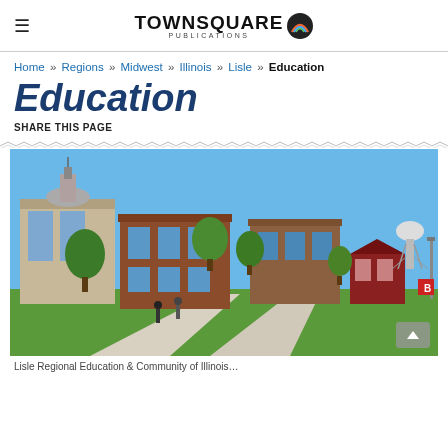TOWNSQUARE PUBLICATIONS
Home » Regions » Midwest » Illinois » Lisle » Education
Education
SHARE THIS PAGE
[Figure (photo): University campus buildings with a blue sky, green trees, walkway with people walking, and a water tower visible in the background.]
Lisle Regional Education & Community of Illinois...